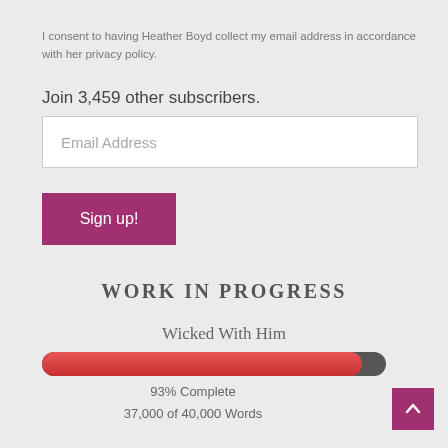I consent to having Heather Boyd collect my email address in accordance with her privacy policy.
Join 3,459 other subscribers.
[Figure (screenshot): Email Address input field (white rectangle with placeholder text)]
[Figure (screenshot): Sign up! button (magenta/purple rectangle with white text)]
WORK IN PROGRESS
Wicked With Him
[Figure (other): Progress bar showing 93% complete, red filled bar on dark track]
93% Complete
37,000 of 40,000 Words